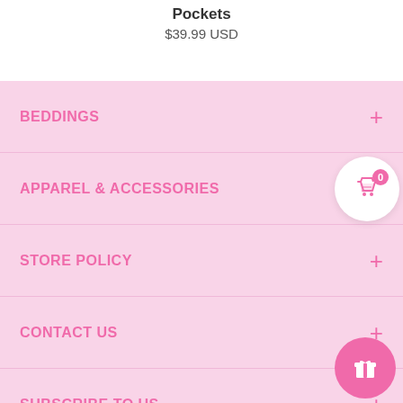Pockets
$39.99 USD
BEDDINGS
APPAREL & ACCESSORIES
STORE POLICY
CONTACT US
SUBSCRIBE TO US